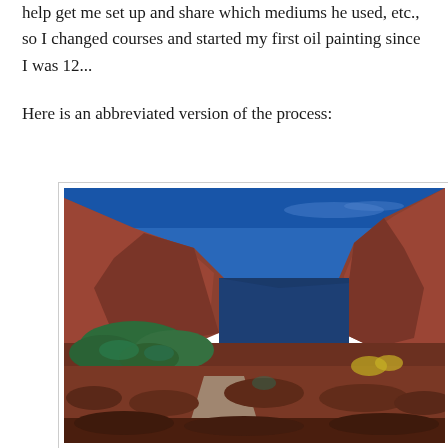help get me set up and share which mediums he used, etc., so I changed courses and started my first oil painting since I was 12...
Here is an abbreviated version of the process:
[Figure (photo): Landscape photograph of a red rock canyon with tall sandstone cliffs on both sides, lush green vegetation at the base, a road visible in the middle distance, and a clear blue sky above. Appears to be a scene from the American Southwest, possibly Moab or similar canyon landscape.]